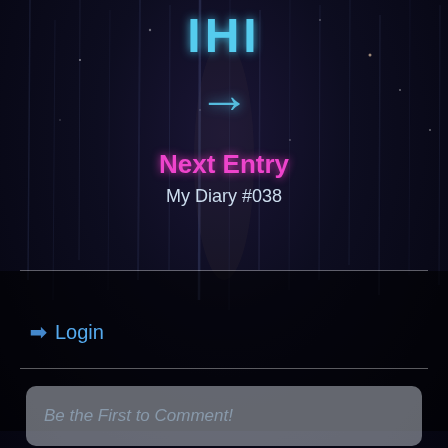[Figure (screenshot): Dark cosmic/rain background with vertical streaks and subtle star-like particles on a deep navy/black gradient]
IHI
[Figure (other): Light blue right-pointing arrow icon]
Next Entry
My Diary #038
Login
Be the First to Comment!